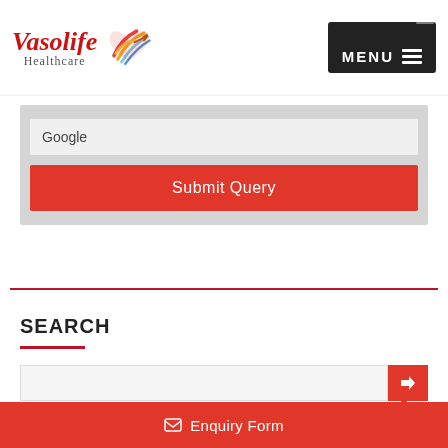[Figure (logo): Vasolife Healthcare logo with red italic text and colorful heart icon]
MENU
Google
Submit Query
SEARCH
Enquiry Form